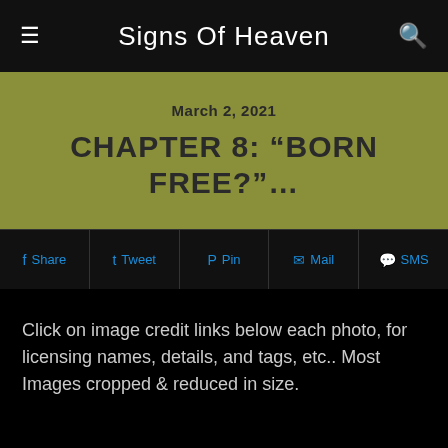Signs Of Heaven
March 2, 2021
CHAPTER 8: “BORN FREE?”…
Share  Tweet  Pin  Mail  SMS
Click on image credit links below each photo, for licensing names, details, and tags, etc.. Most Images cropped & reduced in size.